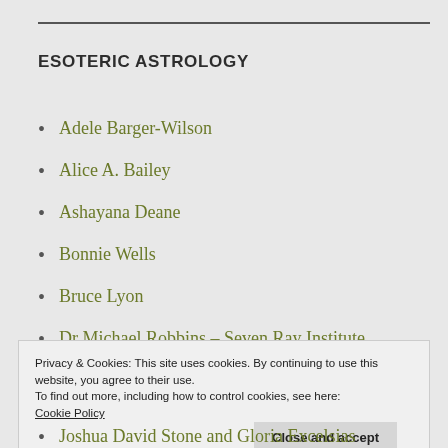ESOTERIC ASTROLOGY
Adele Barger-Wilson
Alice A. Bailey
Ashayana Deane
Bonnie Wells
Bruce Lyon
Dr Michael Robbins – Seven Ray Institute
Privacy & Cookies: This site uses cookies. By continuing to use this website, you agree to their use.
To find out more, including how to control cookies, see here:
Cookie Policy
Joshua David Stone and Gloria Excelsias